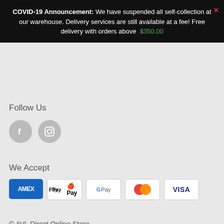COVID-19 Announcement: We have suspended all self-collection at our warehouse. Delivery services are still available at a fee! Free delivery with orders above $350.00
Follow Us
[Figure (illustration): Facebook and Instagram social media icons as grey circles with white logos]
We Accept
[Figure (illustration): Payment method icons: American Express, Apple Pay, Google Pay, Mastercard, Visa]
© AVL Direct Online Store
Powered by Shopify